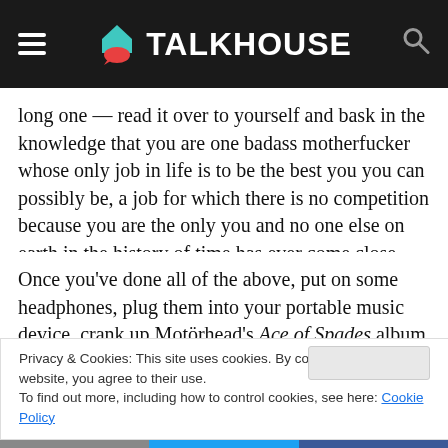TALKHOUSE
long one — read it over to yourself and bask in the knowledge that you are one badass motherfucker whose only job in life is to be the best you you can possibly be, a job for which there is no competition because you are the only you and no one else on earth in the history of time has ever come close.
Once you've done all of the above, put on some headphones, plug them into your portable music device, crank up Motörhead's Ace of Spades album and go for a
Privacy & Cookies: This site uses cookies. By continuing to use this website, you agree to their use.
To find out more, including how to control cookies, see here: Cookie Policy